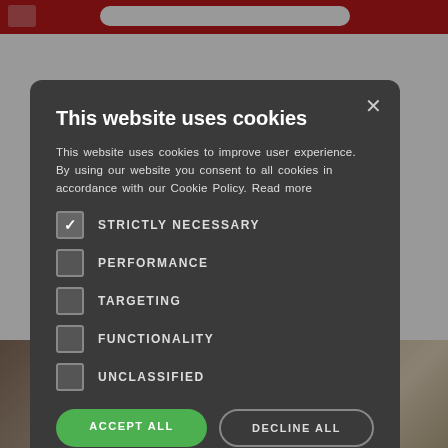[Figure (screenshot): Website screenshot showing red header bar with logo and search field, large bold text behind a cookie consent modal]
This website uses cookies
This website uses cookies to improve user experience. By using our website you consent to all cookies in accordance with our Cookie Policy. Read more
STRICTLY NECESSARY (checked)
PERFORMANCE
TARGETING
FUNCTIONALITY
UNCLASSIFIED
ACCEPT ALL
DECLINE ALL
SHOW DETAILS